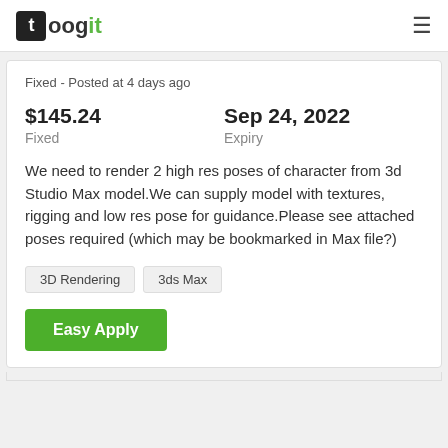toogit
Fixed - Posted at 4 days ago
$145.24
Fixed
Sep 24, 2022
Expiry
We need to render 2 high res poses of character from 3d Studio Max model.We can supply model with textures, rigging and low res pose for guidance.Please see attached poses required (which may be bookmarked in Max file?)
3D Rendering
3ds Max
Easy Apply